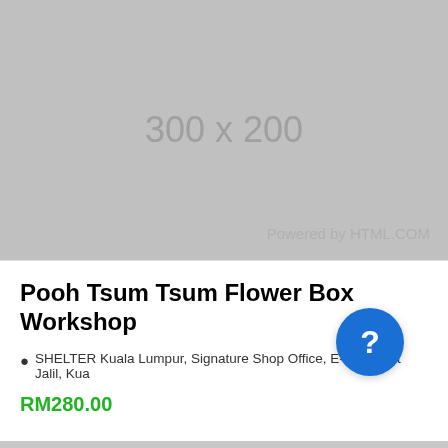[Figure (other): Placeholder image 300x200 with text 'Powered by HTML.COM' in bottom right corner, grey background]
Pooh Tsum Tsum Flower Box Workshop
SHELTER Kuala Lumpur, Signature Shop Office, E-2-3, Bukit Jalil, Kua
RM280.00